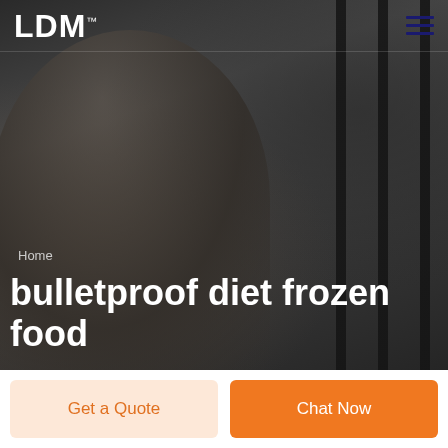LDM™
[Figure (photo): Grayscale background photo of a smiling man in a suit, with vertical rod/bar elements visible on the right side. Dark moody tone.]
Home
bulletproof diet frozen food
Get a Quote
Chat Now